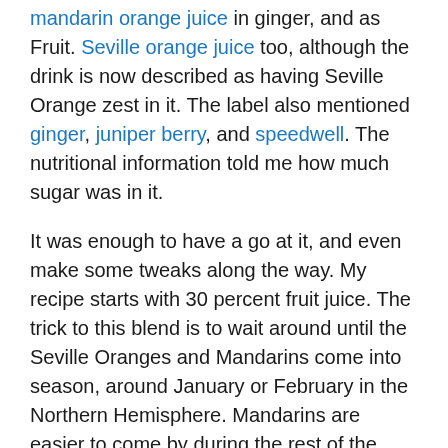mandarin orange juice in ginger, and as Fruit. Seville orange juice too, although the drink is now described as having Seville Orange zest in it. The label also mentioned ginger, juniper berry, and speedwell. The nutritional information told me how much sugar was in it.
It was enough to have a go at it, and even make some tweaks along the way. My recipe starts with 30 percent fruit juice. The trick to this blend is to wait around until the Seville Oranges and Mandarins come into season, around January or February in the Northern Hemisphere. Mandarins are easier to come by during the rest of the year, but to make Orange Twichell in June I need to squeeze and zest the Sevilles and freeze the result.
The Fentimans website suggests that its beverages are fermented with brewers yeast. I tried brewing with ale yeast and wine yeast for a couple of batches, but I found